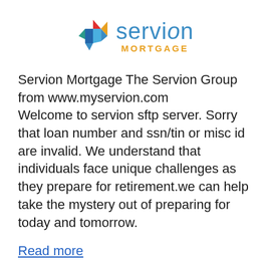[Figure (logo): Servion Mortgage logo with multicolor geometric diamond shape and blue 'servion' wordmark with orange 'MORTGAGE' text]
Servion Mortgage The Servion Group from www.myservion.com
Welcome to servion sftp server. Sorry that loan number and ssn/tin or misc id are invalid. We understand that individuals face unique challenges as they prepare for retirement.we can help take the mystery out of preparing for today and tomorrow.
Read more
News